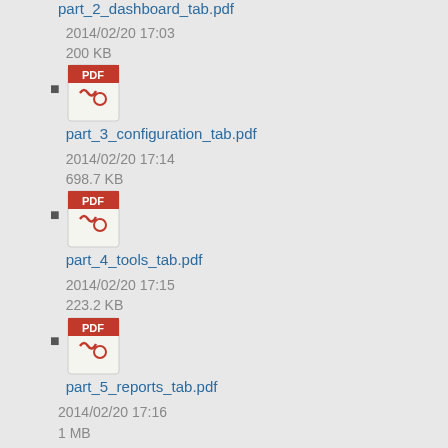part_2_dashboard_tab.pdf
2014/02/20 17:03
200 KB
part_3_configuration_tab.pdf
2014/02/20 17:14
698.7 KB
part_4_tools_tab.pdf
2014/02/20 17:15
223.2 KB
part_5_reports_tab.pdf
2014/02/20 17:16
1 MB